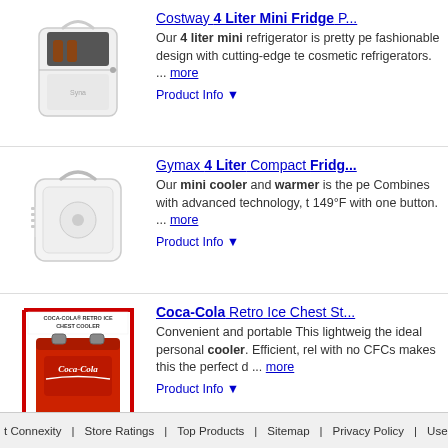[Figure (photo): Small white Costway 4 Liter Mini Fridge product image]
Costway 4 Liter Mini Fridge P... Our 4 liter mini refrigerator is pretty fashionable design with cutting-edge technology cosmetic refrigerators. ... more
Product Info ▼
[Figure (photo): White Gymax 4 Liter Compact Fridge product image]
Gymax 4 Liter Compact Fridge... Our mini cooler and warmer is the perfect. Combines with advanced technology, 149°F with one button. ... more
Product Info ▼
[Figure (photo): Coca-Cola Retro Ice Chest Style red cooler product image]
Coca-Cola Retro Ice Chest St... Convenient and portable This lightweight the ideal personal cooler. Efficient, reliable with no CFCs makes this the perfect d... ... more
Product Info ▼
Ads related to coca cola 4 liter 6 can polar bear mini fri...
t Connexity  Store Ratings  Top Products  Sitemap  Privacy Policy  User Agreement